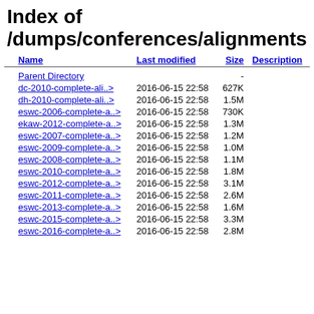Index of /dumps/conferences/alignments
| Name | Last modified | Size | Description |
| --- | --- | --- | --- |
| Parent Directory |  | - |  |
| dc-2010-complete-ali..> | 2016-06-15 22:58 | 627K |  |
| dh-2010-complete-ali..> | 2016-06-15 22:58 | 1.5M |  |
| eswc-2006-complete-a..> | 2016-06-15 22:58 | 730K |  |
| ekaw-2012-complete-a..> | 2016-06-15 22:58 | 1.3M |  |
| eswc-2007-complete-a..> | 2016-06-15 22:58 | 1.2M |  |
| eswc-2009-complete-a..> | 2016-06-15 22:58 | 1.0M |  |
| eswc-2008-complete-a..> | 2016-06-15 22:58 | 1.1M |  |
| eswc-2010-complete-a..> | 2016-06-15 22:58 | 1.8M |  |
| eswc-2012-complete-a..> | 2016-06-15 22:58 | 3.1M |  |
| eswc-2011-complete-a..> | 2016-06-15 22:58 | 2.6M |  |
| eswc-2013-complete-a..> | 2016-06-15 22:58 | 1.6M |  |
| eswc-2015-complete-a..> | 2016-06-15 22:58 | 3.3M |  |
| eswc-2016-complete-a..> | 2016-06-15 22:58 | 2.8M |  |